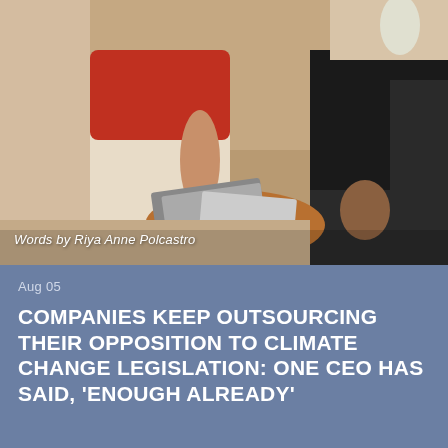[Figure (photo): A person sitting on a couch/chair with a laptop or books on a round wooden side table. Two people visible, one in a red top and white/beige skirt, another in dark clothing. Interior setting with dark leather furniture.]
Words by Riya Anne Polcastro
Aug 05
COMPANIES KEEP OUTSOURCING THEIR OPPOSITION TO CLIMATE CHANGE LEGISLATION: ONE CEO HAS SAID, 'ENOUGH ALREADY'